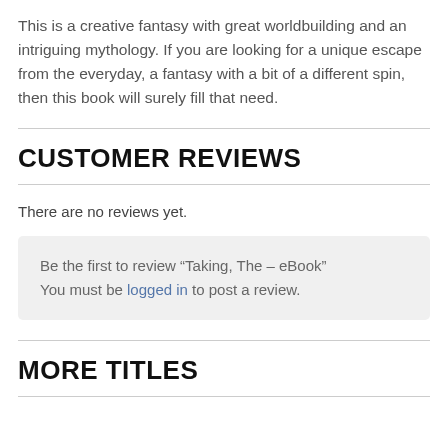This is a creative fantasy with great worldbuilding and an intriguing mythology. If you are looking for a unique escape from the everyday, a fantasy with a bit of a different spin, then this book will surely fill that need.
CUSTOMER REVIEWS
There are no reviews yet.
Be the first to review “Taking, The – eBook”
You must be logged in to post a review.
MORE TITLES